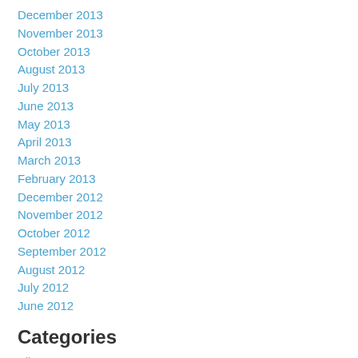December 2013
November 2013
October 2013
August 2013
July 2013
June 2013
May 2013
April 2013
March 2013
February 2013
December 2012
November 2012
October 2012
September 2012
August 2012
July 2012
June 2012
Categories
All
1st Air Cavalry